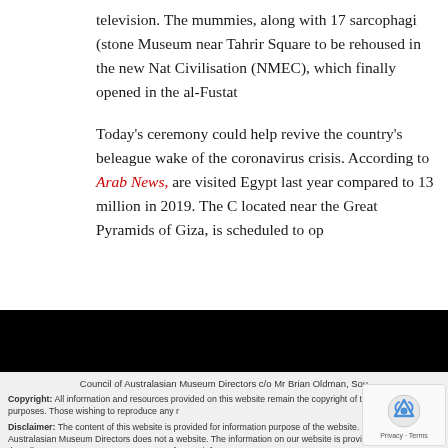television. The mummies, along with 17 sarcophagi (stone Museum near Tahrir Square to be rehoused in the new Nat Civilisation (NMEC), which finally opened in the al-Fustat
Today's ceremony could help revive the country's beleague wake of the coronavirus crisis. According to Arab News, are visited Egypt last year compared to 13 million in 2019. The C located near the Great Pyramids of Giza, is scheduled to op
Council of Australasian Museum Directors c/o Mr Brian Oldman, Sou
Copyright: All information and resources provided on this website remain the copyright of t not for profit purposes. Those wishing to reproduce any r
Disclaimer: The content of this website is provided for information purpose of the website. The Council of Australasian Museum Directors does not a website. The information on our website is provided on the basis that all pe for any informa